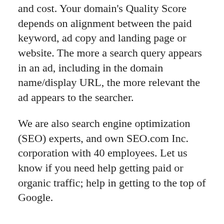and cost. Your domain's Quality Score depends on alignment between the paid keyword, ad copy and landing page or website. The more a search query appears in an ad, including in the domain name/display URL, the more relevant the ad appears to the searcher.
We are also search engine optimization (SEO) experts, and own SEO.com Inc. corporation with 40 employees. Let us know if you need help getting paid or organic traffic; help in getting to the top of Google.
Buy AmethystInitiative.com now!
Leave a message